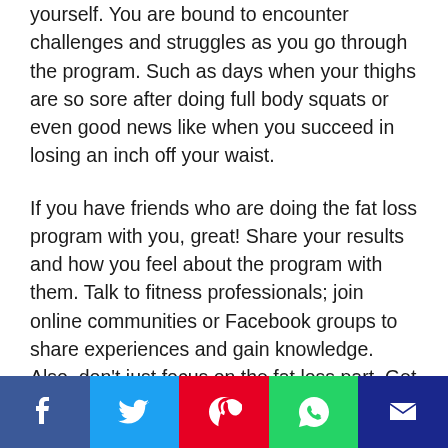yourself. You are bound to encounter challenges and struggles as you go through the program. Such as days when your thighs are so sore after doing full body squats or even good news like when you succeed in losing an inch off your waist.
If you have friends who are doing the fat loss program with you, great! Share your results and how you feel about the program with them. Talk to fitness professionals; join online communities or Facebook groups to share experiences and gain knowledge. Also, don't just focus on the fat loss part. Get into the whole health and fitness experience. Buy fitness magazines, visit fitn
[Figure (other): Social media sharing bar with Facebook, Twitter, Pinterest, WhatsApp, and another icon buttons]